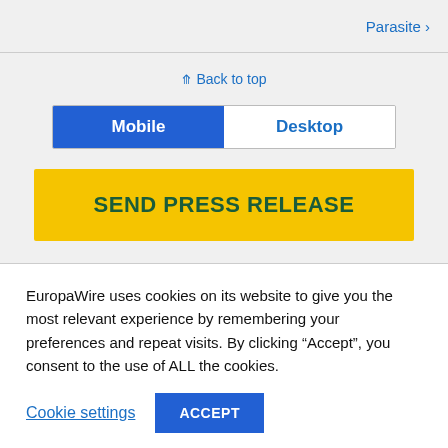Parasite ›
⇪ Back to top
Mobile | Desktop
SEND PRESS RELEASE
EuropaWire uses cookies on its website to give you the most relevant experience by remembering your preferences and repeat visits. By clicking "Accept", you consent to the use of ALL the cookies.
Cookie settings  ACCEPT